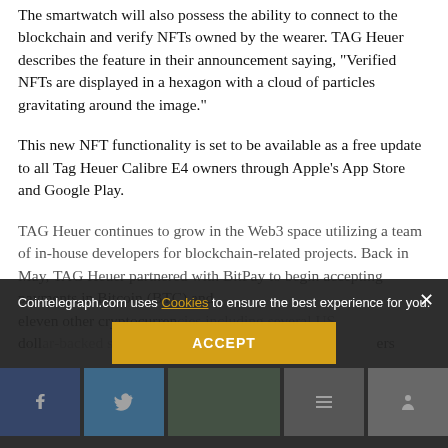The smartwatch will also possess the ability to connect to the blockchain and verify NFTs owned by the wearer. TAG Heuer describes the feature in their announcement saying, "Verified NFTs are displayed in a hexagon with a cloud of particles gravitating around the image."
This new NFT functionality is set to be available as a free update to all Tag Heuer Calibre E4 owners through Apple's App Store and Google Play.
TAG Heuer continues to grow in the Web3 space utilizing a team of in-house developers for blockchain-related projects. Back in May, TAG Heuer partnered with BitPay to begin accepting payments in Bitcoin (BTC) and eleven other cryptocurrencies including several US dollar-backed stablecoins and other stable ers
Cointelegraph.com uses Cookies to ensure the best experience for you.